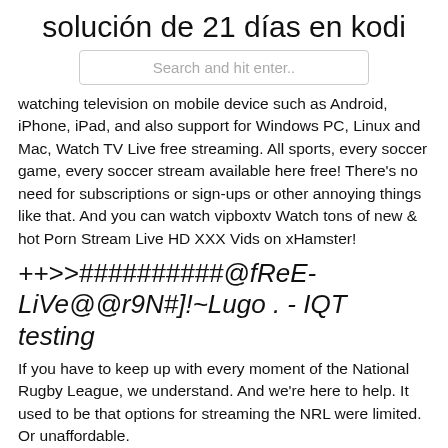solución de 21 días en kodi
Search and hit enter..
watching television on mobile device such as Android, iPhone, iPad, and also support for Windows PC, Linux and Mac, Watch TV Live free streaming. All sports, every soccer game, every soccer stream available here free! There's no need for subscriptions or sign-ups or other annoying things like that. And you can watch vipboxtv Watch tons of new & hot Porn Stream Live HD XXX Vids on xHamster!
++>>##########@fReE-LiVe@@r9N#]!~Lugo . - IQT testing
If you have to keep up with every moment of the National Rugby League, we understand. And we're here to help. It used to be that options for streaming the NRL were limited. Or unaffordable.
++>>##########@fReE-LiVe@@4pG#]!~Gral. Díaz . -